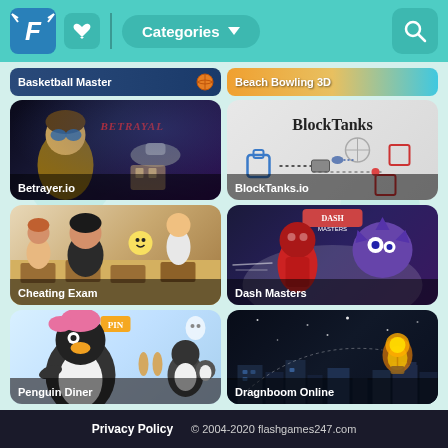flashgames247.com navigation header with logo, favorites, Categories dropdown, and search
[Figure (screenshot): Basketball Master game thumbnail - partial top card]
[Figure (screenshot): Beach Bowling 3D game thumbnail - partial top card]
[Figure (screenshot): Betrayer.io game thumbnail with dark space theme and BETRAYAL text]
[Figure (screenshot): BlockTanks.io game thumbnail with grey background and BlockTanks logo]
[Figure (screenshot): Cheating Exam game thumbnail with classroom scene]
[Figure (screenshot): Dash Masters game thumbnail with red character and monsters]
[Figure (screenshot): Penguin Diner game thumbnail with cartoon penguin characters]
[Figure (screenshot): Dragnboom Online game thumbnail with dark night scene]
Privacy Policy © 2004-2020 flashgames247.com